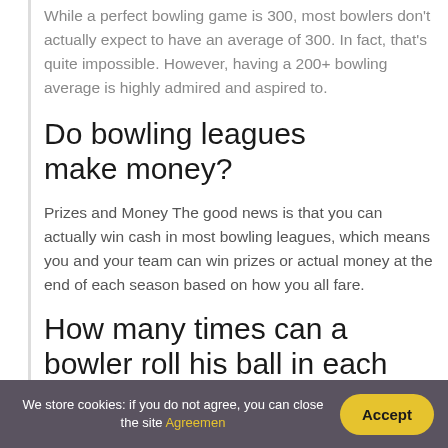While a perfect bowling game is 300, most bowlers don't actually expect to have an average of 300. In fact, that's quite impossible. However, having a 200+ bowling average is highly admired and aspired to.
Do bowling leagues make money?
Prizes and Money The good news is that you can actually win cash in most bowling leagues, which means you and your team can win prizes or actual money at the end of each season based on how you all fare.
How many times can a bowler roll his ball in each
We store cookies: if you do not agree, you can close the site Agreemen  Accept